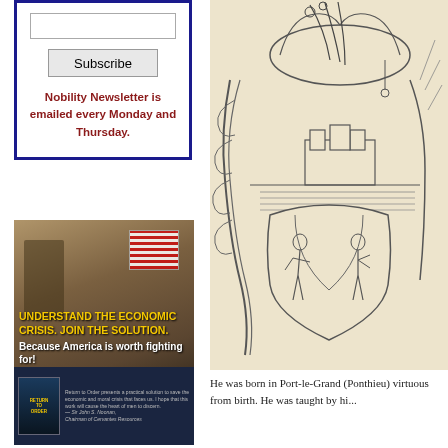Nobility Newsletter is emailed every Monday and Thursday.
[Figure (illustration): Advertisement for 'Return to Order' book showing a soldier figure in front of an American flag with text: UNDERSTAND THE ECONOMIC CRISIS. JOIN THE SOLUTION. Because America is worth fighting for!]
[Figure (illustration): Heraldic engraving showing an ornate coat of arms with scrollwork, figures, a building/castle in the background, and decorative baroque elements.]
He was born in Port-le-Grand (Ponthieu) virtuous from birth. He was taught by hi...